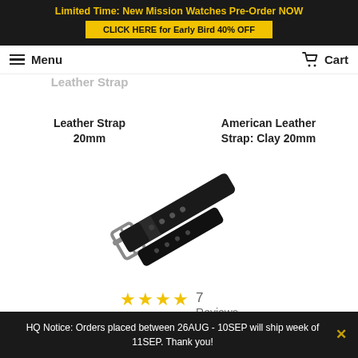Limited Time: New Mission Watches Pre-Order NOW
CLICK HERE for Early Bird 40% OFF
Menu  |  Cart
Clay Color Two Piece American Leather Strap 20mm
Single Pass American Leather Strap: Clay 20mm
[Figure (photo): A black two-piece American leather watch strap with silver buckle, shown diagonally on white background.]
★★★★★ 7 Reviews
Pitch Black Two Piece American Leather Strap
HQ Notice: Orders placed between 26AUG - 10SEP will ship week of 11SEP. Thank you!